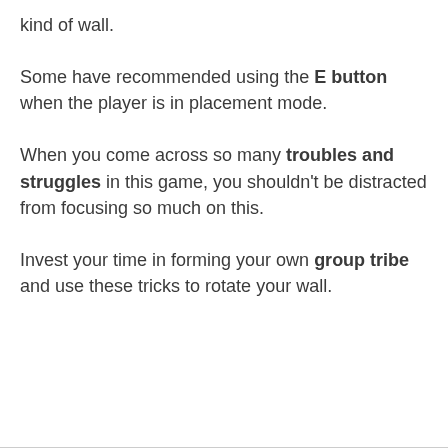kind of wall. Some have recommended using the E button when the player is in placement mode. When you come across so many troubles and struggles in this game, you shouldn't be distracted from focusing so much on this. Invest your time in forming your own group tribe and use these tricks to rotate your wall.